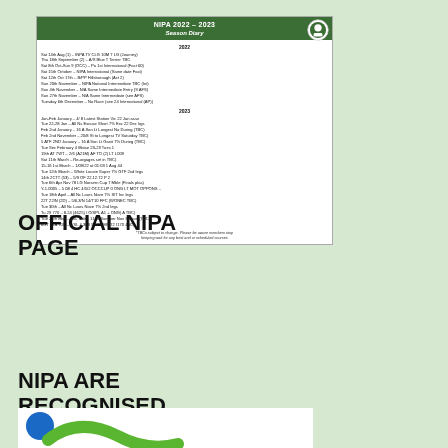[Figure (other): NIPA 2022-2023 Season Diary card with green header, NIPA logo, and two columns of diary entries for 2022 and 2023]
OFFICIAL NIPA PAGE
[Figure (other): Facebook 'Find us on Facebook' banner with blue background and Facebook f logo]
NIPA ARE RECOGNISED BY SPORT NI
[Figure (logo): Sport NI logo at bottom of page]